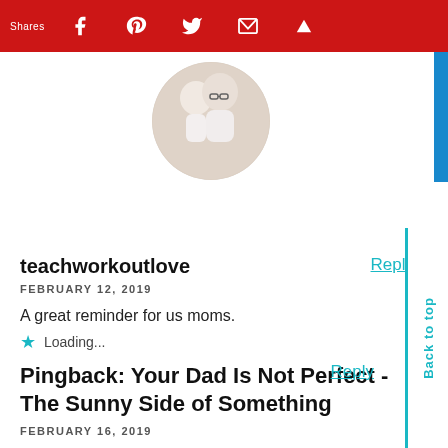Shares | Facebook | Pinterest | Twitter | Email | Crown
[Figure (photo): Circular profile photo of a woman with glasses and a young girl, both wearing light pink clothing]
teachworkoutlove
FEBRUARY 12, 2019
A great reminder for us moms.
Loading...
Pingback: Your Dad Is Not Perfect - The Sunny Side of Something
FEBRUARY 16, 2019